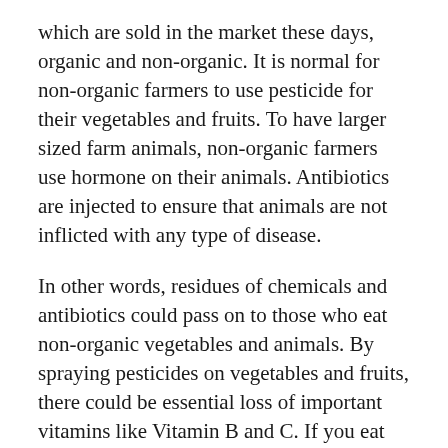which are sold in the market these days, organic and non-organic. It is normal for non-organic farmers to use pesticide for their vegetables and fruits. To have larger sized farm animals, non-organic farmers use hormone on their animals. Antibiotics are injected to ensure that animals are not inflicted with any type of disease.
In other words, residues of chemicals and antibiotics could pass on to those who eat non-organic vegetables and animals. By spraying pesticides on vegetables and fruits, there could be essential loss of important vitamins like Vitamin B and C. If you eat only organic food, you may not face the problem of lack of vitamins and existence of toxins in your body.
Taking a daily dosage of Vitamin C, B complex and other vitamins might be necessary for normal healthy people. As you may know, Vitamin C is vital in preventing various